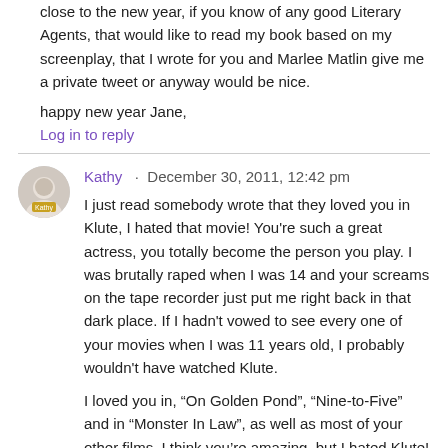close to the new year, if you know of any good Literary Agents, that would like to read my book based on my screenplay, that I wrote for you and Marlee Matlin give me a private tweet or anyway would be nice.
happy new year Jane,
Log in to reply
Kathy  ·  December 30, 2011, 12:42 pm
I just read somebody wrote that they loved you in Klute, I hated that movie! You're such a great actress, you totally become the person you play. I was brutally raped when I was 14 and your screams on the tape recorder just put me right back in that dark place. If I hadn't vowed to see every one of your movies when I was 11 years old, I probably wouldn't have watched Klute.
I loved you in, “On Golden Pond”, “Nine-to-Five” and in “Monster In Law”, as well as most of your other films, I think you’re amazing, but I hated Klute!